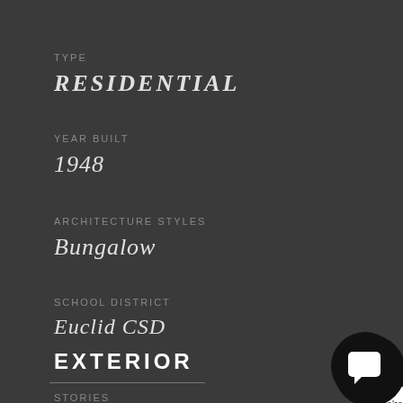TYPE
RESIDENTIAL
YEAR BUILT
1948
ARCHITECTURE STYLES
Bungalow
SCHOOL DISTRICT
Euclid CSD
[Figure (screenshot): Chat popup widget with logo icon showing message: We're here to answer your questions. How can we help you? with an X close button]
EXTERIOR
STORIES